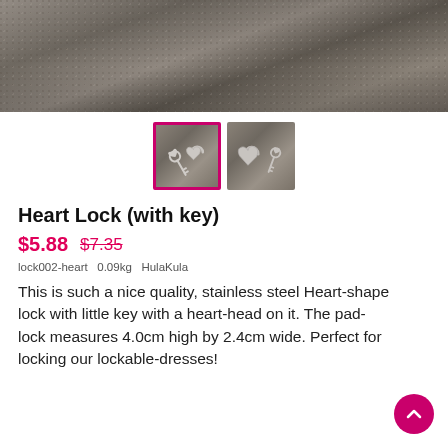[Figure (photo): Close-up of dark grey leather or fabric texture background, cropped product image top]
[Figure (photo): Two thumbnail product images of a heart-shaped padlock with a small key. First thumbnail (selected, pink border) shows key and lock laid out; second thumbnail shows lock and key from different angle on grey background.]
Heart Lock (with key)
$5.88  $7.35
lock002-heart  0.09kg  HulaKula
This is such a nice quality, stainless steel Heart-shape lock with little key with a heart-head on it. The pad-lock measures 4.0cm high by 2.4cm wide. Perfect for locking our lockable-dresses!